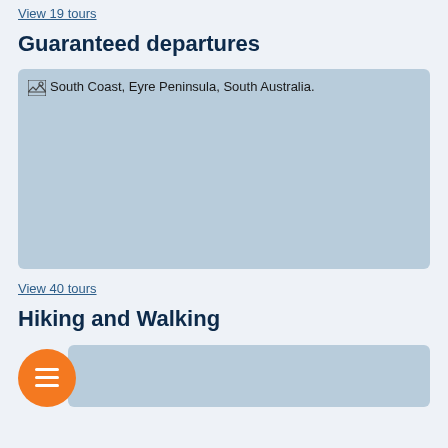View 19 tours
Guaranteed departures
[Figure (photo): South Coast, Eyre Peninsula, South Australia. — large image placeholder with light blue-grey background]
View 40 tours
Hiking and Walking
[Figure (photo): Partially visible image placeholder below Hiking and Walking section, with orange hamburger/menu button overlay on the left]